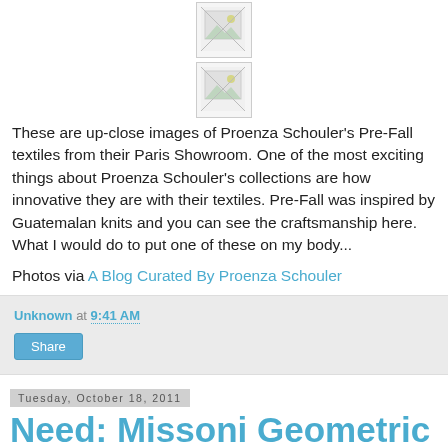[Figure (photo): Broken image placeholder 1]
[Figure (photo): Broken image placeholder 2]
These are up-close images of Proenza Schouler's Pre-Fall textiles from their Paris Showroom. One of the most exciting things about Proenza Schouler's collections are how innovative they are with their textiles. Pre-Fall was inspired by Guatemalan knits and you can see the craftsmanship here. What I would do to put one of these on my body...
Photos via A Blog Curated By Proenza Schouler
Unknown at 9:41 AM
Share
Tuesday, October 18, 2011
Need: Missoni Geometric Drop Earrings